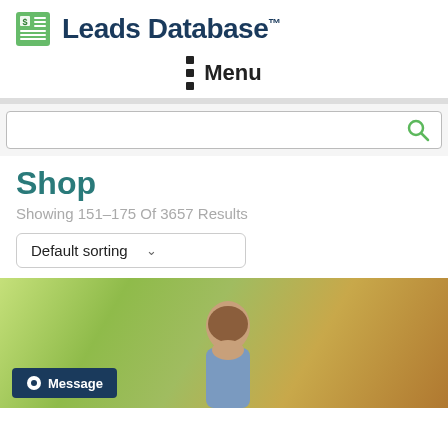Leads Database™
≡ Menu
Shop
Showing 151–175 Of 3657 Results
Default sorting
[Figure (photo): Product card image showing a person outdoors with green tree background, with a Message button overlay in the bottom left corner]